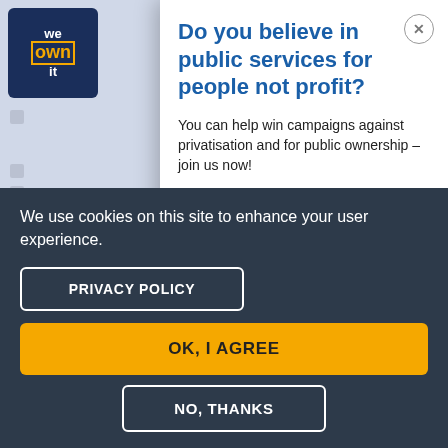[Figure (screenshot): We Own It logo in dark navy blue with 'own' highlighted in orange border, in the background of the page]
Do you believe in public services for people not profit?
You can help win campaigns against privatisation and for public ownership – join us now!
First Name   Last Name
We use cookies on this site to enhance your user experience.
PRIVACY POLICY
OK, I AGREE
NO, THANKS